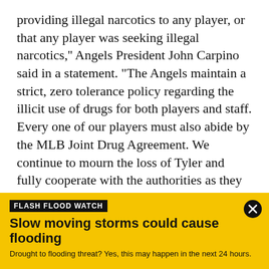providing illegal narcotics to any player, or that any player was seeking illegal narcotics," Angels President John Carpino said in a statement. "The Angels maintain a strict, zero tolerance policy regarding the illicit use of drugs for both players and staff. Every one of our players must also abide by the MLB Joint Drug Agreement. We continue to mourn the loss of Tyler and fully cooperate with the authorities as they continue their investigation."

The ESPN story, citing two sources familiar with the investigation, claims that Eric Kay, the Angels' director
[Figure (infographic): Flash Flood Watch banner in yellow background. Label reads 'FLASH FLOOD WATCH' in black on black background. Headline: 'Slow moving storms could cause flooding'. Subtext: 'Drought to flooding threat? Yes, this may happen in the next 24 hours.' Close button (X) in top right corner.]